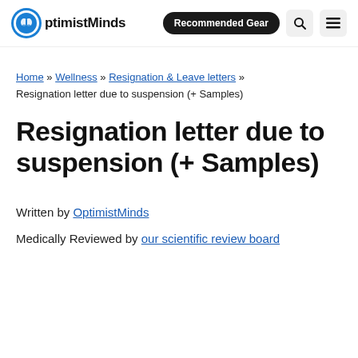OptimistMinds | Recommended Gear
Home » Wellness » Resignation & Leave letters » Resignation letter due to suspension (+ Samples)
Resignation letter due to suspension (+ Samples)
Written by OptimistMinds
Medically Reviewed by our scientific review board